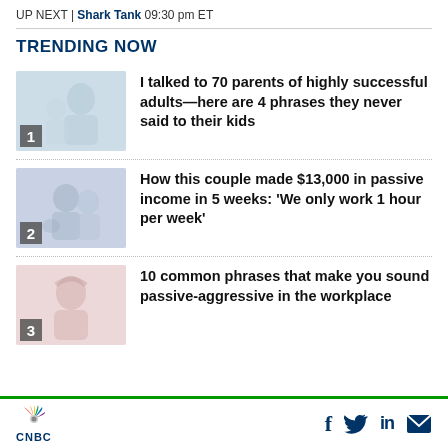UP NEXT | Shark Tank 09:30 pm ET
TRENDING NOW
I talked to 70 parents of highly successful adults—here are 4 phrases they never said to their kids
How this couple made $13,000 in passive income in 5 weeks: 'We only work 1 hour per week'
10 common phrases that make you sound passive-aggressive in the workplace
CNBC | Social icons: Facebook, Twitter, LinkedIn, Email